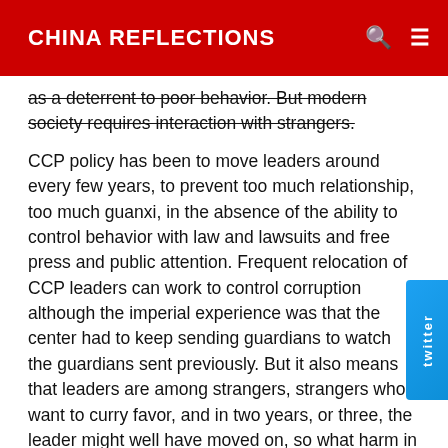CHINA REFLECTIONS
as a deterrent to poor behavior. But modern society requires interaction with strangers.
CCP policy has been to move leaders around every few years, to prevent too much relationship, too much guanxi, in the absence of the ability to control behavior with law and lawsuits and free press and public attention. Frequent relocation of CCP leaders can work to control corruption although the imperial experience was that the center had to keep sending guardians to watch the guardians sent previously. But it also means that leaders are among strangers, strangers who want to curry favor, and in two years, or three, the leader might well have moved on, so what harm in helping the locals, particularly if I can also help